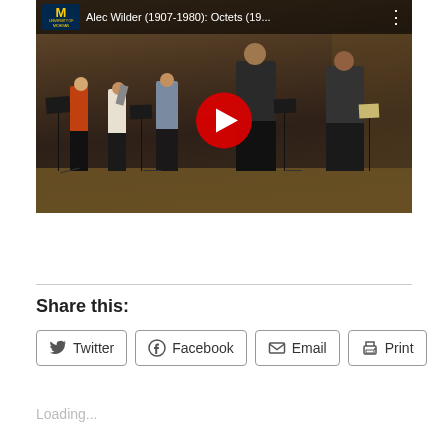[Figure (screenshot): YouTube video thumbnail showing a University of Michigan musical ensemble performance on stage. Title reads 'Alec Wilder (1907-1980): Octets (19...' with a red YouTube play button overlay. Several musicians are visible on a concert hall stage.]
Share this:
Twitter
Facebook
Email
Print
Loading...